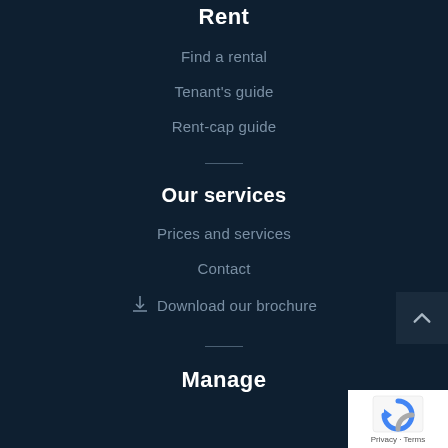Rent
Find a rental
Tenant's guide
Rent-cap guide
Our services
Prices and services
Contact
Download our brochure
Manage